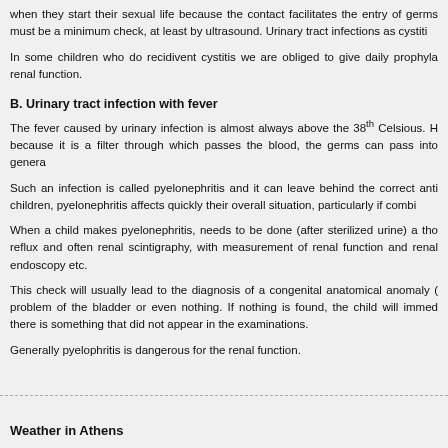when they start their sexual life because the contact facilitates the entry of germs. There must be a minimum check, at least by ultrasound. Urinary tract infections as cystiti...
In some children who do recidivent cystitis we are obliged to give daily prophylac... renal function.
B. Urinary tract infection with fever
The fever caused by urinary infection is almost always above the 38th Celsious. H... because it is a filter through which passes the blood, the germs can pass into genera...
Such an infection is called pyelonephritis and it can leave behind the correct anti... children, pyelonephritis affects quickly their overall situation, particularly if combi...
When a child makes pyelonephritis, needs to be done (after sterilized urine) a tho... reflux and often renal scintigraphy, with measurement of renal function and renal... endoscopy etc.
This check will usually lead to the diagnosis of a congenital anatomical anomaly (... problem of the bladder or even nothing. If nothing is found, the child will immed... there is something that did not appear in the examinations.
Generally pyelophritis is dangerous for the renal function.
Weather in Athens